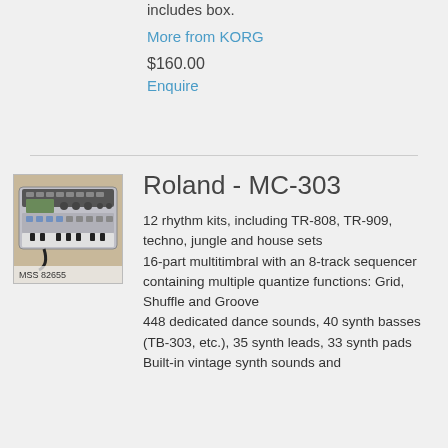includes box.
More from KORG
$160.00
Enquire
[Figure (photo): Roland MC-303 groovebox product photo, label MSS 82655]
Roland - MC-303
12 rhythm kits, including TR-808, TR-909, techno, jungle and house sets
16-part multitimbral with an 8-track sequencer containing multiple quantize functions: Grid, Shuffle and Groove
448 dedicated dance sounds, 40 synth basses (TB-303, etc.), 35 synth leads, 33 synth pads
Built-in vintage synth sounds and